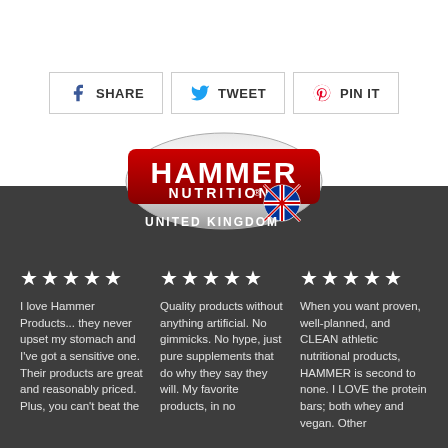[Figure (infographic): Social share buttons: Facebook Share, Twitter Tweet, Pinterest Pin It]
[Figure (logo): Hammer Nutrition United Kingdom logo]
★★★★★ I love Hammer Products... they never upset my stomach and I've got a sensitive one. Their products are great and reasonably priced. Plus, you can't beat the
★★★★★ Quality products without anything artificial. No gimmicks. No hype, just pure supplements that do why they say they will. My favorite products, in no
★★★★★ When you want proven, well-planned, and CLEAN athletic nutritional products, HAMMER is second to none. I LOVE the protein bars; both whey and vegan. Other